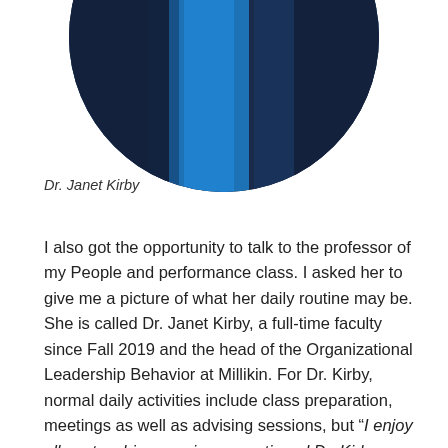[Figure (photo): Circular cropped portrait photo of Dr. Janet Kirby, showing blue and dark navy clothing/background]
Dr. Janet Kirby
I also got the opportunity to talk to the professor of my People and performance class. I asked her to give me a picture of what her daily routine may be. She is called Dr. Janet Kirby, a full-time faculty since Fall 2019 and the head of the Organizational Leadership Behavior at Millikin. For Dr. Kirby, normal daily activities include class preparation, meetings as well as advising sessions, but “I enjoy all my teaching sessions, mentioned Dr. Kirby enthusiastically.” As a person aspiring to pursue my career in almost the same field as Dr. Kirby, I asked her to give some advice to business students she said: